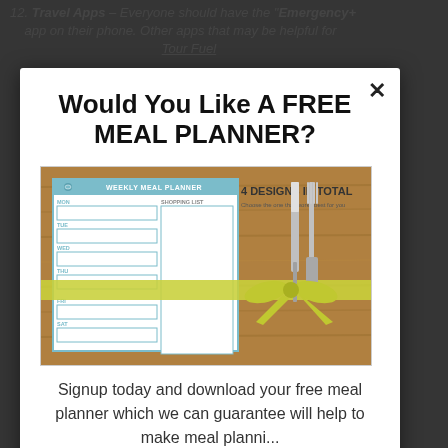12. Travel Apps – Everyone should have the "Emergency+" app on their phone. Other apps that may be helpful for ... Tour Fuel
Would You Like A FREE MEAL PLANNER?
[Figure (photo): A weekly meal planner notepad with shopping list section shown on a wooden table surface with a knife and fork tied with a yellow-green ribbon and bow. Text overlay reads '4 DESIGNS IN TOTAL'.]
Signup today and download your free meal planner which we can guarantee will help to make meal planni...